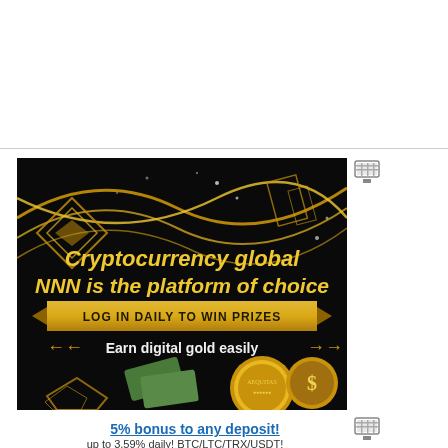[Figure (infographic): Dark background cryptocurrency advertisement banner. Gold text reads 'Cryptocurrency global NNN is the platform of choice'. Gold ribbon banner with text 'LOG IN DAILY TO WIN PRIZES'. Arrow decorations with text 'Earn digital gold easily'. Images of dollar bills, gold coins (AEQUITAS), and crypto symbol graphics. Small icon in top-right corner.]
5% bonus to any deposit!
up to 3.59% daily! BTC/LTC/TRX/USDT!